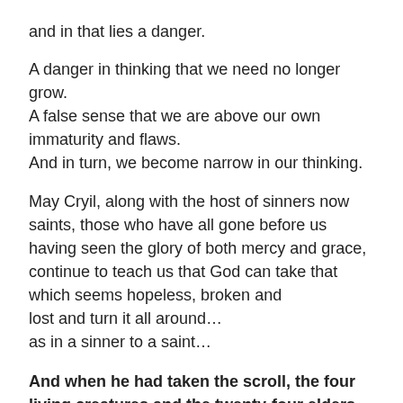and in that lies a danger.
A danger in thinking that we need no longer grow.
A false sense that we are above our own immaturity and flaws.
And in turn, we become narrow in our thinking.
May Cryil, along with the host of sinners now saints, those who have all gone before us having seen the glory of both mercy and grace,
continue to teach us that God can take that which seems hopeless, broken and
lost and turn it all around…
as in a sinner to a saint…
And when he had taken the scroll, the four living creatures and the twenty-four elders